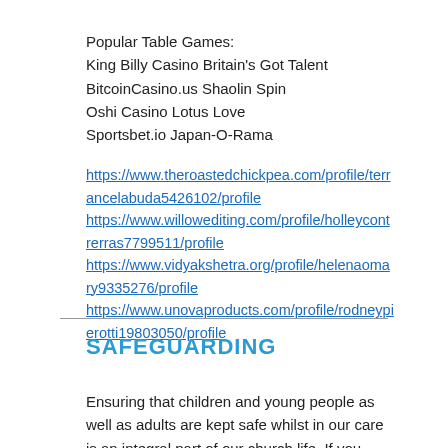Popular Table Games:
King Billy Casino Britain's Got Talent
BitcoinCasino.us Shaolin Spin
Oshi Casino Lotus Love
Sportsbet.io Japan-O-Rama
https://www.theroastedchickpea.com/profile/terrancelabuda5426102/profile
https://www.willowediting.com/profile/holleycontrerras7799511/profile
https://www.vidyakshetra.org/profile/helenaomary9335276/profile
https://www.unovaproducts.com/profile/rodneypierotti19803050/profile
SAFEGUARDING
Ensuring that children and young people as well as adults are kept safe whilst in our care is an integral part of our church life. If you